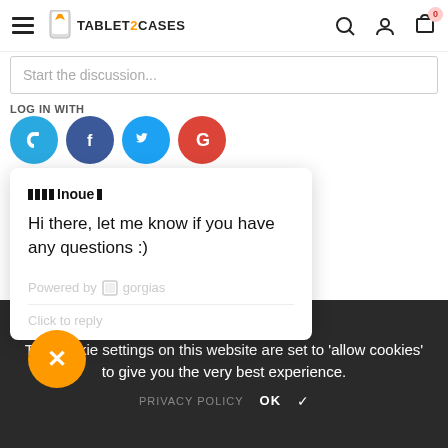TABLET2CASES — header navigation with hamburger menu, logo, search, account, and cart (0 items)
Start the discussion...
LOG IN WITH
[Figure (screenshot): Social login icons: Disqus (blue), Facebook (dark blue), Twitter (light blue), Google (red)]
[Figure (screenshot): Chat popup widget with username '████Inoue█' and message: Hi there, let me know if you have any questions :) Powered by gorgias. Click to reply.]
ent.
The cookie settings on this website are set to 'allow cookies' to give you the very best experience.
PRIVACY POLICY   OK ✓